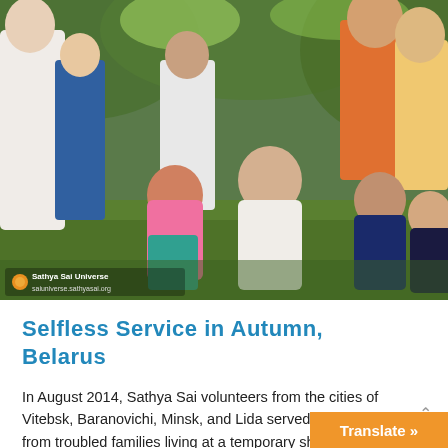[Figure (photo): Outdoor scene with a group of children and adults sitting and crouching on grass, looking upward at something out of frame. Trees and greenery visible in background. Watermark reads 'Sathya Sai Universe / saiuniverse.sathyasai.org']
Selfless Service in Autumn, Belarus
In August 2014, Sathya Sai volunteers from the cities of Vitebsk, Baranovichi, Minsk, and Lida served 35 children from troubled families living at a temporary shelter. Volunteers planted flowers and bushes, installed tile in a laundry room, stored co...